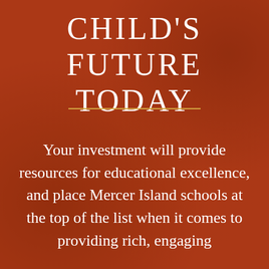[Figure (photo): Photo of smiling children with a warm reddish-orange color overlay, forming the background of the entire page.]
CHILD'S FUTURE TODAY
Your investment will provide resources for educational excellence, and place Mercer Island schools at the top of the list when it comes to providing rich, engaging